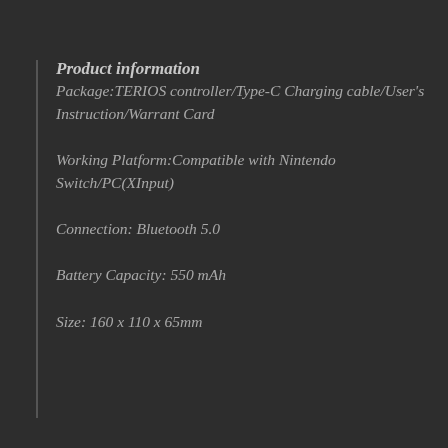Product information
Package:TERIOS controller/Type-C Charging cable/User's Instruction/Warrant Card
Working Platform:Compatible with Nintendo Switch/PC(XInput)
Connection: Bluetooth 5.0
Battery Capacity: 550 mAh
Size: 160 x 110 x 65mm